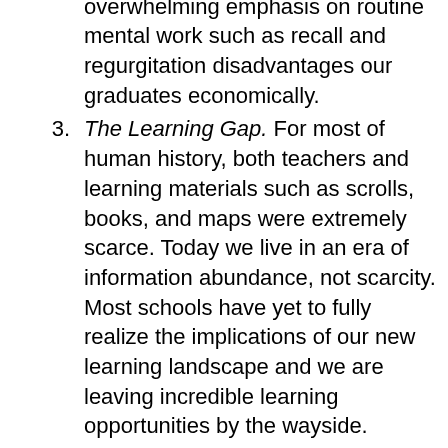non-routine cognitive work, schools' overwhelming emphasis on routine mental work such as recall and regurgitation disadvantages our graduates economically.
The Learning Gap. For most of human history, both teachers and learning materials such as scrolls, books, and maps were extremely scarce. Today we live in an era of information abundance, not scarcity. Most schools have yet to fully realize the implications of our new learning landscape and we are leaving incredible learning opportunities by the wayside.
The Engagement Gap. The biggest indictment of our schools is not